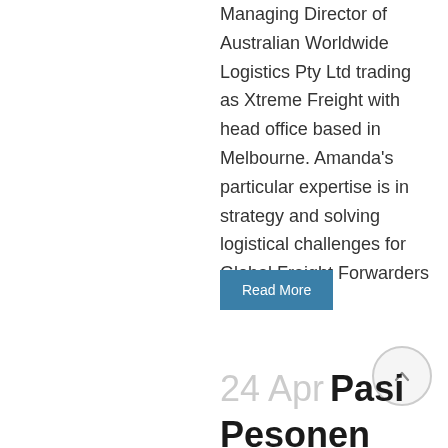Managing Director of Australian Worldwide Logistics Pty Ltd trading as Xtreme Freight with head office based in Melbourne. Amanda's particular expertise is in strategy and solving logistical challenges for Global Freight Forwarders and...
Read More
24 Apr Pasi Pesonen